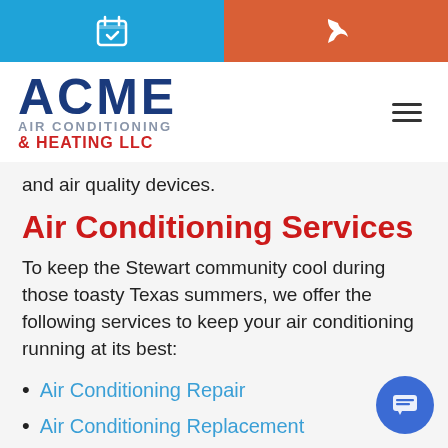[Calendar icon] [Phone icon] — top navigation bar
[Figure (logo): ACME Air Conditioning & Heating LLC logo with blue ACME text, gray AIR CONDITIONING text, and red & HEATING LLC text]
and air quality devices.
Air Conditioning Services
To keep the Stewart community cool during those toasty Texas summers, we offer the following services to keep your air conditioning running at its best:
Air Conditioning Repair
Air Conditioning Replacement